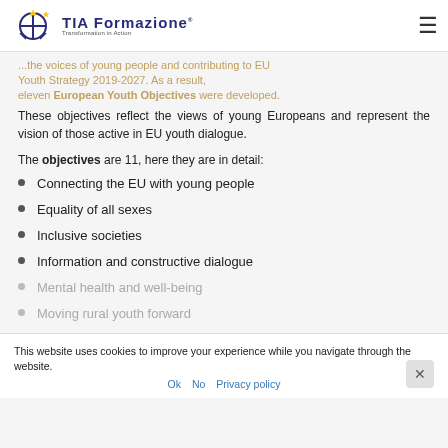TIA Formazione — Transformation in Action
...the voices of young people and contributing to EU Youth Strategy 2019-2027. As a result, eleven European Youth Objectives were developed.
These objectives reflect the views of young Europeans and represent the vision of those active in EU youth dialogue.
The objectives are 11, here they are in detail:
Connecting the EU with young people
Equality of all sexes
Inclusive societies
Information and constructive dialogue
Mental health and well-being
Moving rural youth forward
This website uses cookies to improve your experience while you navigate through the website.
Ok   No   Privacy policy